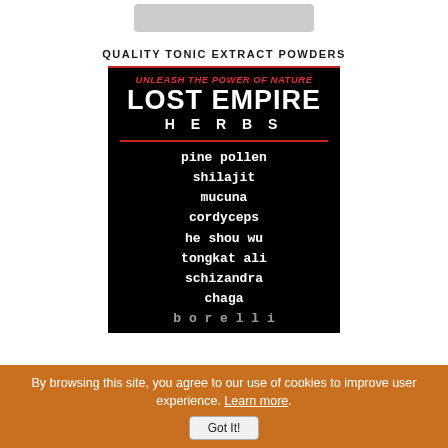[Figure (photo): Partial product image at top, cropped — showing bottom edge of a product container, gray/dark]
QUALITY TONIC EXTRACT POWDERS
[Figure (illustration): Lost Empire Herbs promotional black card with logo, tagline 'UNLEASH THE POWER OF NATURE', and list of herbs: pine pollen, shilajit, mucuna, cordyceps, he shou wu, tongkat ali, schizandra, chaga, and more (partially cut off)]
By browsing this site, you agree to our use of cookies to improve user experience. Learn more. Got It!